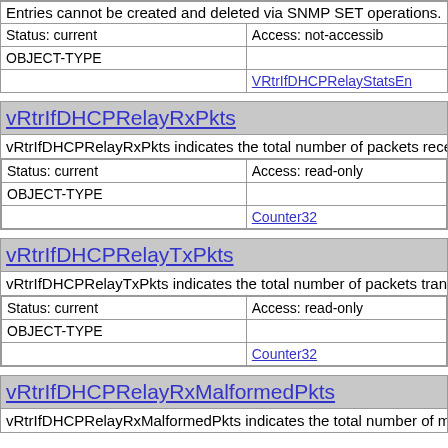Entries cannot be created and deleted via SNMP SET operations.
| Status: current | Access: not-accessible |
| OBJECT-TYPE |  |
|  | VRtrIfDHCPRelayStatsEn... |
vRtrIfDHCPRelayRxPkts
vRtrIfDHCPRelayRxPkts indicates the total number of packets rece...
| Status: current | Access: read-only |
| OBJECT-TYPE |  |
|  | Counter32 |
vRtrIfDHCPRelayTxPkts
vRtrIfDHCPRelayTxPkts indicates the total number of packets tran...
| Status: current | Access: read-only |
| OBJECT-TYPE |  |
|  | Counter32 |
vRtrIfDHCPRelayRxMalformedPkts
vRtrIfDHCPRelayRxMalformedPkts indicates the total number of m...